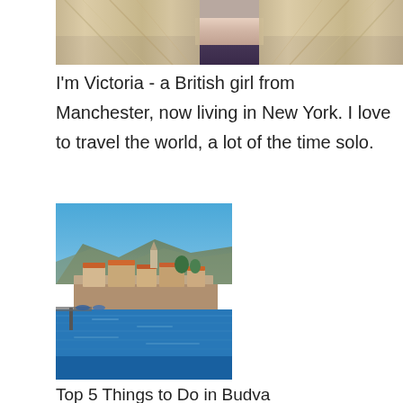[Figure (photo): Partial photo of a woman with blonde hair, cropped to show only hair and neck/shoulder area]
I'm Victoria - a British girl from Manchester, now living in New York. I love to travel the world, a lot of the time solo.
[Figure (photo): Coastal photo of Budva, Montenegro, showing the old town with orange-roofed buildings, a church steeple, stone walls, and blue sea in the foreground with mountains in the background]
Top 5 Things to Do in Budva